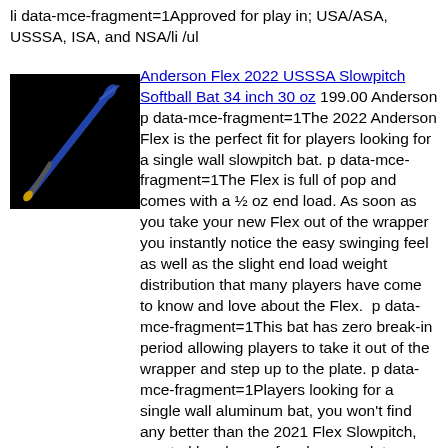li data-mce-fragment=1Approved for play in; USA/ASA, USSSA, ISA, and NSA/li /ul
[Figure (photo): Photo of Anderson Flex softball bat on black background, bat appears blue with yellow grip/knob]
Anderson Flex 2022 USSSA Slowpitch Softball Bat 34 inch 30 oz 199.00 Anderson p data-mce-fragment=1The 2022 Anderson Flex is the perfect fit for players looking for a single wall slowpitch bat. p data-mce-fragment=1The Flex is full of pop and comes with a ½ oz end load. As soon as you take your new Flex out of the wrapper you instantly notice the easy swinging feel as well as the slight end load weight distribution that many players have come to know and love about the Flex.  p data-mce-fragment=1This bat has zero break-in period allowing players to take it out of the wrapper and step up to the plate. p data-mce-fragment=1Players looking for a single wall aluminum bat, you won't find any better than the 2021 Flex Slowpitch, created by players, for players p data-mce-fragment=1spanFeatures:/span ul data-mce-fragment=1 li data-mce-fragment=11/2 oz. End Load Weight Distribution helps to provide more speed & power behind